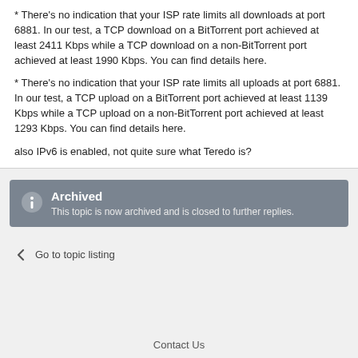* There's no indication that your ISP rate limits all downloads at port 6881. In our test, a TCP download on a BitTorrent port achieved at least 2411 Kbps while a TCP download on a non-BitTorrent port achieved at least 1990 Kbps. You can find details here.
* There's no indication that your ISP rate limits all uploads at port 6881. In our test, a TCP upload on a BitTorrent port achieved at least 1139 Kbps while a TCP upload on a non-BitTorrent port achieved at least 1293 Kbps. You can find details here.
also IPv6 is enabled, not quite sure what Teredo is?
Archived
This topic is now archived and is closed to further replies.
Go to topic listing
Contact Us